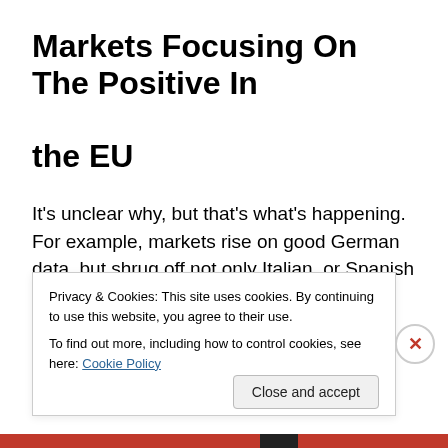Markets Focusing On The Positive In the EU
It’s unclear why, but that’s what’s happening. For example, markets rise on good German data, but shrug off not only Italian, or Spanish data (arguably expected) but even signs of further slowdown in France, the EU’s #2 economy.
Last week, anxiety that surprisingly large, early
Privacy & Cookies: This site uses cookies. By continuing to use this website, you agree to their use.
To find out more, including how to control cookies, see here: Cookie Policy